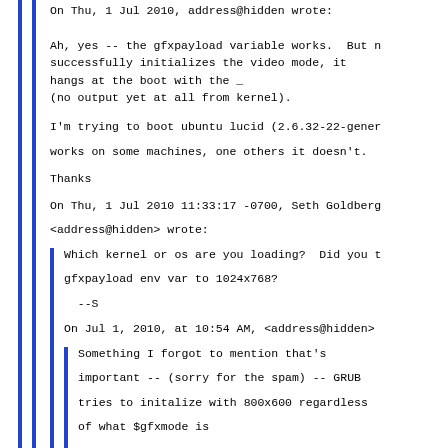On Thu, 1 Jul 2010, address@hidden wrote:
Ah, yes -- the gfxpayload variable works.  But n
successfully initializes the video mode, it
hangs at the boot with the _
(no output yet at all from kernel).
I'm trying to boot ubuntu lucid (2.6.32-22-gener
works on some machines, one others it doesn't.
Thanks
On Thu, 1 Jul 2010 11:33:17 -0700, Seth Goldberg
<address@hidden> wrote:
Which kernel or os are you loading?  Did you t
gfxpayload env var to 1024x768?
--S
On Jul 1, 2010, at 10:54 AM, <address@hidden>
Something I forgot to mention that's
important -- (sorry for the spam) -- GRUB
tries to initalize with 800x600 regardless
of what $gfxmode is
set to.
set gfxmode=1024x768